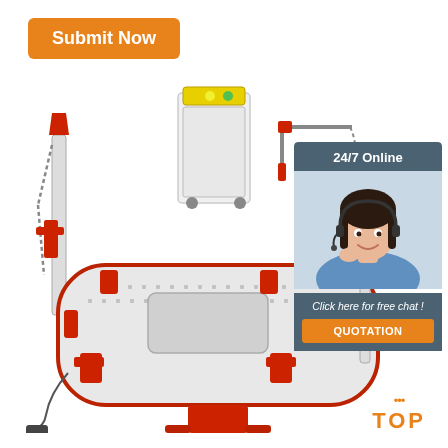Submit Now
[Figure (photo): Auto body frame straightening machine (bench/table type) with red and white frame, multiple clamps and towers, yellow-top hydraulic power unit, and a crane/puller arm with chain. Red and white industrial auto frame repair equipment.]
24/7 Online
[Figure (photo): Customer service representative woman with headset, smiling, wearing blue shirt, on dark teal background.]
Click here for free chat !
QUOTATION
TOP